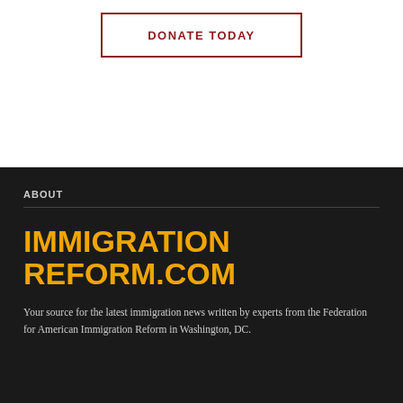[Figure (other): DONATE TODAY button with dark red border and text]
ABOUT
[Figure (logo): IMMIGRATIONREFORM.COM logo in bold yellow/gold text on dark background]
Your source for the latest immigration news written by experts from the Federation for American Immigration Reform in Washington, DC.